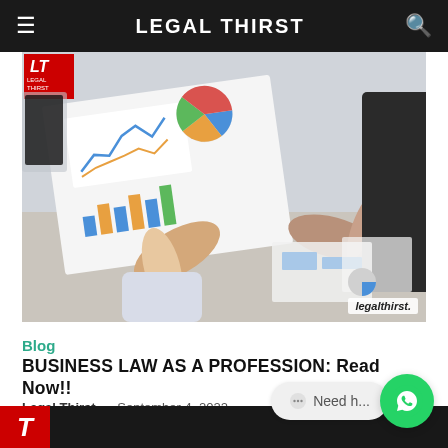LEGAL THIRST
[Figure (photo): Two business people reviewing charts and financial reports on paper; one person pointing at bar charts and graphs. Watermark 'legalthirst.' in bottom right corner.]
Blog
BUSINESS LAW AS A PROFESSION: Read Now!!
Legal Thirst - September 4, 2022
[Figure (screenshot): WhatsApp chat widget with 'Need h...' text and green WhatsApp icon circle.]